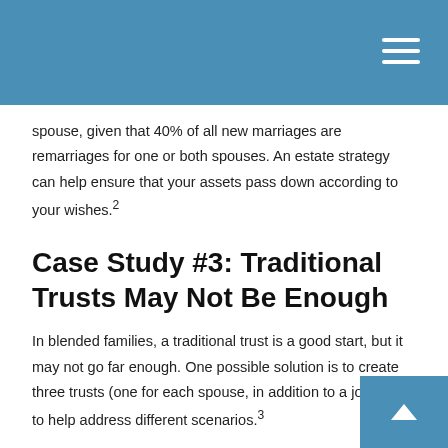spouse, given that 40% of all new marriages are remarriages for one or both spouses. An estate strategy can help ensure that your assets pass down according to your wishes.²
Case Study #3: Traditional Trusts May Not Be Enough
In blended families, a traditional trust is a good start, but it may not go far enough. One possible solution is to create three trusts (one for each spouse, in addition to a joint trust) to help address different scenarios.³
Using a trust involves a complex set of tax rules and regulations. Before moving forward with a trust, consider working with a professional familiar with the rules and regulations.